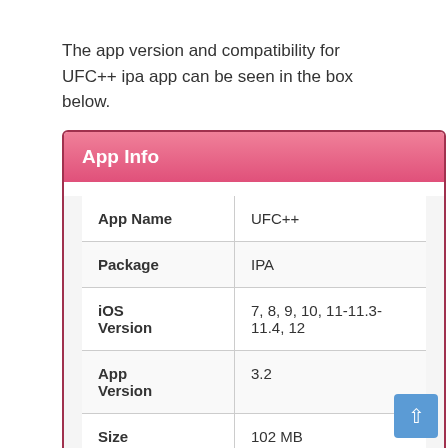The app version and compatibility for UFC++ ipa app can be seen in the box below.
| App Name | UFC++ |
| Package | IPA |
| iOS Version | 7, 8, 9, 10, 11-11.3-11.4, 12 |
| App Version | 3.2 |
| Size | 102 MB |